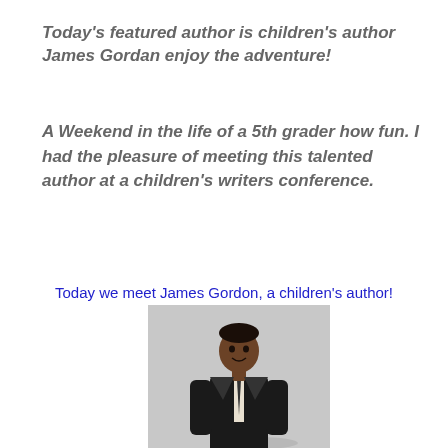Today's featured author is children's author James Gordan enjoy the adventure!
A Weekend in the life of a 5th grader how fun. I had the pleasure of meeting this talented author at a children's writers conference.
Today we meet James Gordon, a children's author!
[Figure (photo): Portrait photo of James Gordon, a Black man wearing a dark suit and tie, standing against a light grey background, smiling at the camera.]